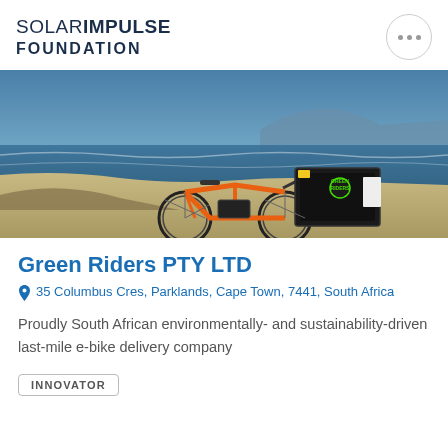SOLAR IMPULSE FOUNDATION
[Figure (photo): An orange e-bike with a large black delivery box branded 'Green Riders' parked on sandy ground near a beach with ocean and mountain in the background.]
Green Riders PTY LTD
35 Columbus Cres, Parklands, Cape Town, 7441, South Africa
Proudly South African environmentally- and sustainability-driven last-mile e-bike delivery company
INNOVATOR